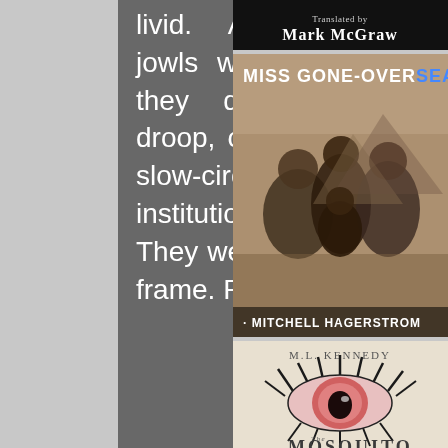livid. Although their jowls were substantial, they did not sway, droop, or wobble in the slow-circulating institutionalized air. They were ample of frame. Plump,
[Figure (photo): Book cover with dark background and text 'Translated by Mark McGraw' in white serif font]
[Figure (photo): Book cover for 'Miss Gone-Overseas' by Mitchell Hagerstrom. Sepia/vintage photograph of three Asian people. Title in white uppercase with 'SEAS' in blue.]
[Figure (photo): Book cover for 'The Mosquito' by M.L. Kennedy. Close-up illustration of a red/pink eye with dramatic lashes on a light background.]